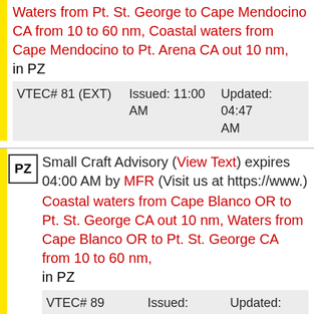Waters from Pt. St. George to Cape Mendocino CA from 10 to 60 nm, Coastal waters from Cape Mendocino to Pt. Arena CA out 10 nm, in PZ
| VTEC# 81 (EXT) | Issued: 11:00 AM | Updated: 04:47 AM |
| --- | --- | --- |
Small Craft Advisory (View Text) expires 04:00 AM by MFR (Visit us at https://www.) Coastal waters from Cape Blanco OR to Pt. St. George CA out 10 nm, Waters from Cape Blanco OR to Pt. St. George CA from 10 to 60 nm, in PZ
| VTEC# 89 (CON) | Issued: 01:00 PM | Updated: 03:20 AM |
| --- | --- | --- |
Small Craft Advisory (View Text) expires 11:00 PM by MTR (For more information fro) Waters from Pigeon Pt. to Pt. Piedras Blancas CA from 10 to 60 nm, in PZ